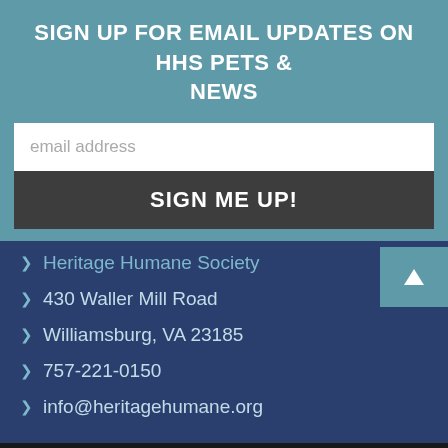SIGN UP FOR EMAIL UPDATES ON HHS PETS & NEWS
email address
SIGN ME UP!
Heritage Humane Society
430 Waller Mill Road
Williamsburg, VA 23185
757-221-0150
info@heritagehumane.org
We use cookies to ensure that we give you the best experience on our website. If you continue to use this site we will assume that you are happy with it.
Ok